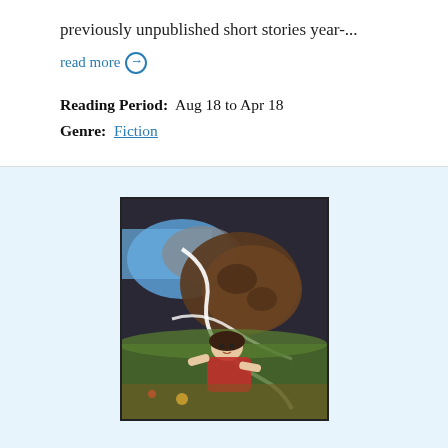previously unpublished short stories year-...
read more →
Reading Period:  Aug 18 to Apr 18
Genre:  Fiction
[Figure (photo): Book cover or magazine cover showing a stylized collage of a woman lying in grass with surreal imagery, dark background with organic shapes]